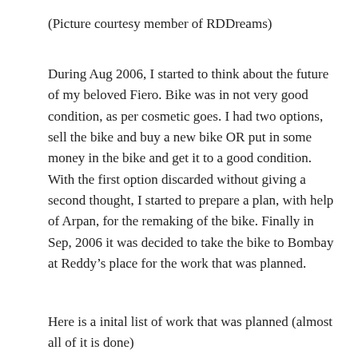(Picture courtesy member of RDDreams)
During Aug 2006, I started to think about the future of my beloved Fiero. Bike was in not very good condition, as per cosmetic goes. I had two options, sell the bike and buy a new bike OR put in some money in the bike and get it to a good condition. With the first option discarded without giving a second thought, I started to prepare a plan, with help of Arpan, for the remaking of the bike. Finally in Sep, 2006 it was decided to take the bike to Bombay at Reddy’s place for the work that was planned.
Here is a inital list of work that was planned (almost all of it is done)